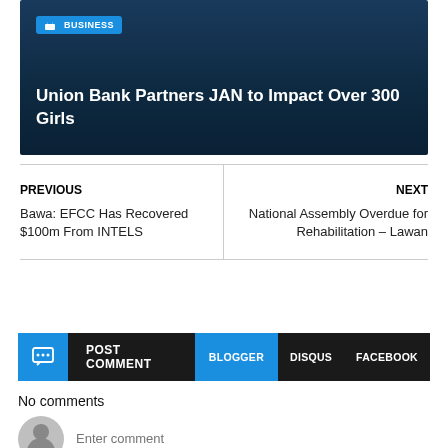[Figure (other): Blue dark background card with BUSINESS badge and article title 'Union Bank Partners JAN to Impact Over 300 Girls']
PREVIOUS
Bawa: EFCC Has Recovered $100m From INTELS
NEXT
National Assembly Overdue for Rehabilitation – Lawan
POST COMMENT
BLOGGER
DISQUS
FACEBOOK
No comments